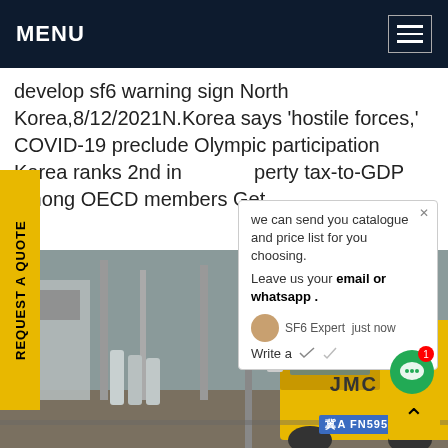MENU
develop sf6 warning sign North Korea,8/12/2021N.Korea says ‘hostile forces,’ COVID-19 preclude Olympic participation Korea ranks 2nd in property tax-to-GDP among OECD members Get ce
REQUEST A QUOTE
[Figure (photo): Industrial electrical substation scene with gas cylinders and a yellow JMC truck, license plate BA FN595]
we can send you catalogue and price list for you choosing.
Leave us your email or whatsapp .
SF6 Expert  just now
Write a